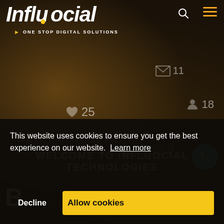[Figure (screenshot): Influocial Technologies website screenshot showing logo, tagline 'ONE STOP DIGITAL SOLUTIONS', social media notification icons (heart 25, email 11, user 18, @ 9), welcome text, and phone button on a dark background.]
WELCOME TO INFLUOCIAL TECHNOLOGIES
This website uses cookies to ensure you get the best experience on our website. Learn more
Decline
Allow cookies